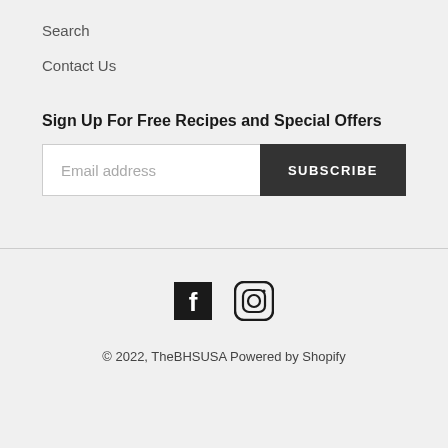Search
Contact Us
Sign Up For Free Recipes and Special Offers
Email address  SUBSCRIBE
[Figure (other): Social media icons: Facebook and Instagram]
© 2022, TheBHSUSA Powered by Shopify